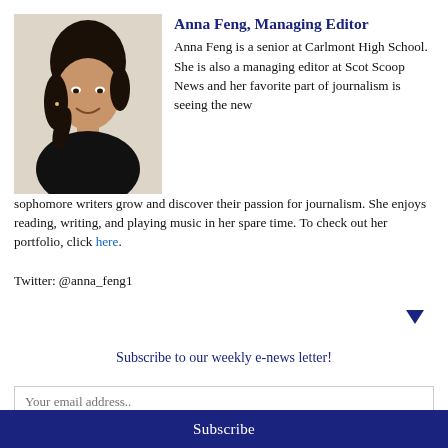[Figure (photo): Headshot photo of Anna Feng, a young woman with dark hair, smiling, wearing a black top.]
Anna Feng, Managing Editor
Anna Feng is a senior at Carlmont High School. She is also a managing editor at Scot Scoop News and her favorite part of journalism is seeing the new sophomore writers grow and discover their passion for journalism. She enjoys reading, writing, and playing music in her spare time. To check out her portfolio, click here.
Twitter: @anna_feng1
Subscribe to our weekly e-news letter!
Your email address..
Subscribe